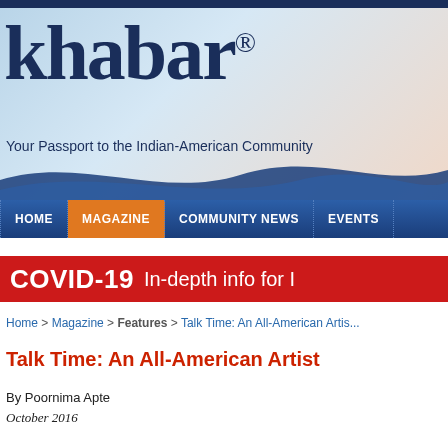[Figure (logo): Khabar magazine logo with tagline 'Your Passport to the Indian-American Community' on a light blue and peach gradient banner background]
HOME | MAGAZINE | COMMUNITY NEWS | EVENTS
[Figure (infographic): Red COVID-19 banner reading 'COVID-19 In-depth info for I...']
Home > Magazine > Features > Talk Time: An All-American Artis...
Talk Time: An All-American Artist
By Poornima Apte
October 2016